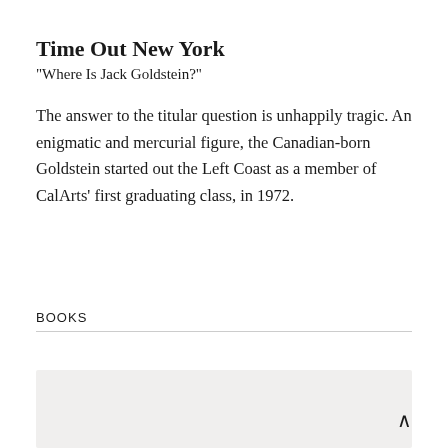Time Out New York
"Where Is Jack Goldstein?"
The answer to the titular question is unhappily tragic. An enigmatic and mercurial figure, the Canadian-born Goldstein started out the Left Coast as a member of CalArts' first graduating class, in 1972.
BOOKS
[Figure (photo): Partially visible image at the bottom of the page, light gray/beige background]